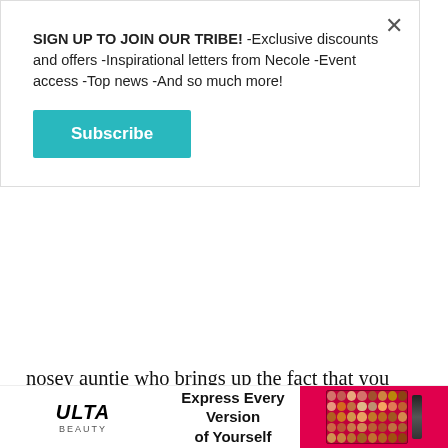SIGN UP TO JOIN OUR TRIBE! -Exclusive discounts and offers -Inspirational letters from Necole -Event access -Top news -And so much more!
Subscribe
nosey auntie who brings up the fact that you can't cook at every family function off of your back. Maybe you want to impress your girlfriends. Or, maybe you want to surprise someone special in your life (because few things are more romantic than a candlelight dinner or indoor picnic at home). Whatever it is, by having an actual incentive, that can motivate and inspire you to cook; even if not
[Figure (infographic): Ulta Beauty advertisement banner with logo, tagline 'Express Every Version of Yourself', and image of makeup products including palette and cosmetic tubes on pink/red background]